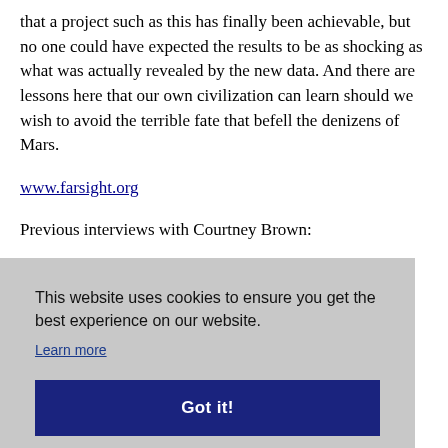that a project such as this has finally been achievable, but no one could have expected the results to be as shocking as what was actually revealed by the new data. And there are lessons here that our own civilization can learn should we wish to avoid the terrible fate that befell the denizens of Mars.
www.farsight.org
Previous interviews with Courtney Brown:
This website uses cookies to ensure you get the best experience on our website. Learn more Got it!